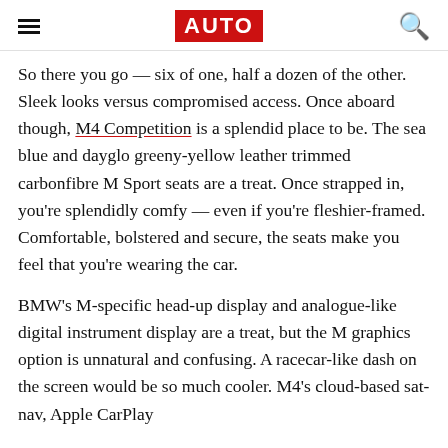AUTO
So there you go — six of one, half a dozen of the other. Sleek looks versus compromised access. Once aboard though, M4 Competition is a splendid place to be. The sea blue and dayglo greeny-yellow leather trimmed carbonfibre M Sport seats are a treat. Once strapped in, you're splendidly comfy — even if you're fleshier-framed. Comfortable, bolstered and secure, the seats make you feel that you're wearing the car.
BMW's M-specific head-up display and analogue-like digital instrument display are a treat, but the M graphics option is unnatural and confusing. A racecar-like dash on the screen would be so much cooler. M4's cloud-based sat-nav, Apple CarPlay